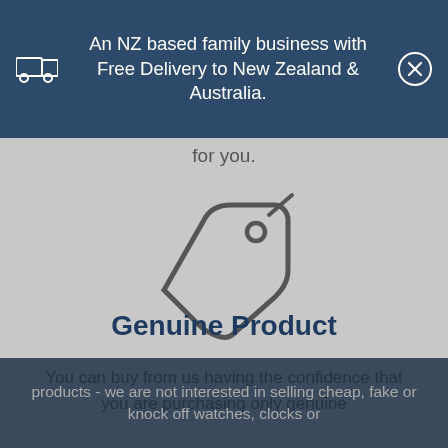An NZ based family business with Free Delivery to New Zealand & Australia.
for you.
[Figure (illustration): A price tag / label icon outline in dark grey on light grey background]
Genuine Product
You can buy from us having the confidence that you are purchasing only genuine products - we are not interested in selling cheap, fake or knock off watches, clocks or